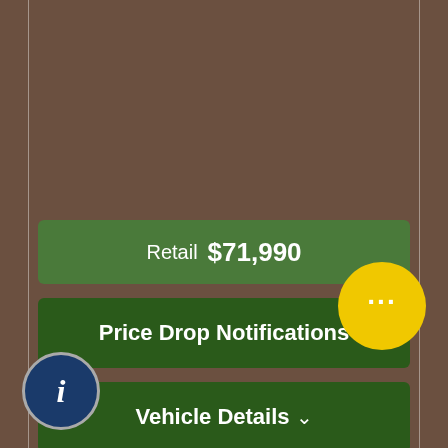Retail  $71,990
Price Drop Notifications
Vehicle Details ∨
CarFax Report
Text Us